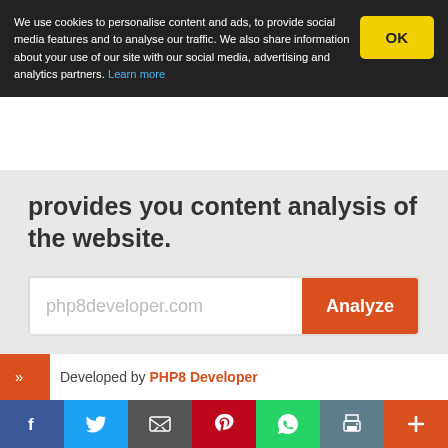We use cookies to personalise content and ads, to provide social media features and to analyse our traffic. We also share information about your use of our site with our social media, advertising and analytics partners. Learn more
provides you content analysis of the website.
[Figure (screenshot): Search input field with placeholder 'php8developer.com' and orange Analyze button]
Developed by PHP8 Developer
[Figure (infographic): Social sharing bar with Facebook, Twitter, Email, Pinterest, WhatsApp, Print, and Plus buttons]